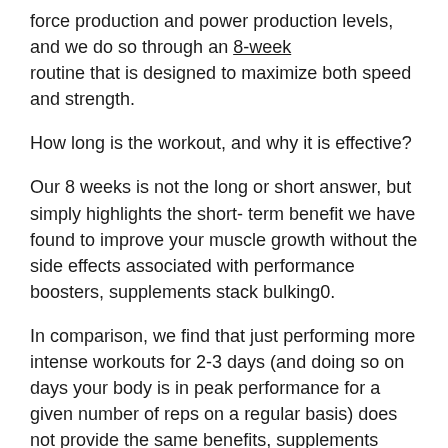force production and power production levels, and we do so through an 8-week routine that is designed to maximize both speed and strength.
How long is the workout, and why it is effective?
Our 8 weeks is not the long or short answer, but simply highlights the short- term benefit we have found to improve your muscle growth without the side effects associated with performance boosters, supplements stack bulking0.
In comparison, we find that just performing more intense workouts for 2-3 days (and doing so on days your body is in peak performance for a given number of reps on a regular basis) does not provide the same benefits, supplements stack bulking1.